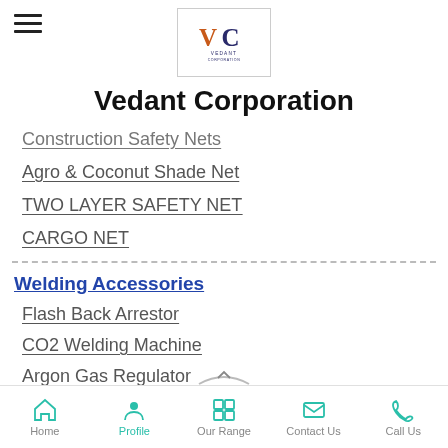Vedant Corporation
Vedant Corporation
Construction Safety Nets
Agro & Coconut Shade Net
TWO LAYER SAFETY NET
CARGO NET
Welding Accessories
Flash Back Arrestor
CO2 Welding Machine
Argon Gas Regulator
Gas Cutting Torch
Welding Curtains
Home  Profile  Our Range  Contact Us  Call Us